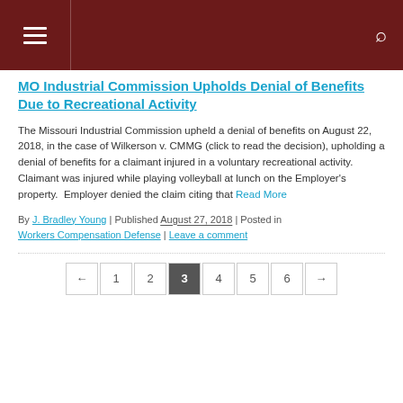[Navigation bar with hamburger menu and search icon]
MO Industrial Commission Upholds Denial of Benefits Due to Recreational Activity
The Missouri Industrial Commission upheld a denial of benefits on August 22, 2018, in the case of Wilkerson v. CMMG (click to read the decision), upholding a denial of benefits for a claimant injured in a voluntary recreational activity. Claimant was injured while playing volleyball at lunch on the Employer's property.  Employer denied the claim citing that Read More
By J. Bradley Young | Published August 27, 2018 | Posted in Workers Compensation Defense | Leave a comment